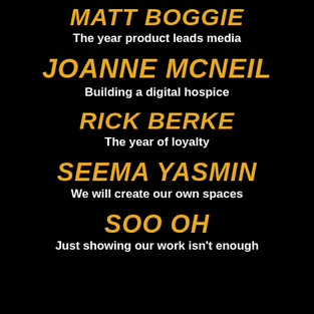MATT BOGGIE
The year product leads media
JOANNE MCNEIL
Building a digital hospice
RICK BERKE
The year of loyalty
SEEMA YASMIN
We will create our own spaces
SOO OH
Just showing our work isn't enough